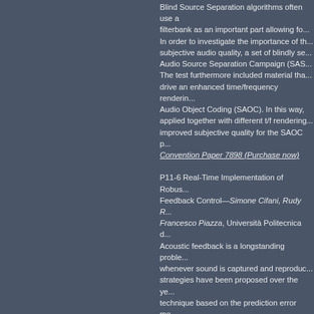Blind Source Separation algorithms often use a filterbank as an important part allowing for... In order to investigate the importance of the subjective audio quality, a set of blindly se... Audio Source Separation Campaign (SAS... The test furthermore included material tha... drive an enhanced time/frequency renderin... Audio Object Coding (SAOC). In this way, applied together with different t/f renderin... improved subjective quality for the SAOC p... Convention Paper 7898 (Purchase now)
P11-6 Real-Time Implementation of Robus... Feedback Control—Simone Cifani, Rudy R... Francesco Piazza, Università Politecnica d... Acoustic feedback is a longstanding proble... whenever sound is captured and reproduc... strategies have been proposed over the ye... technique based on the prediction error me... purpose. Recent studies have shown that t... reduction filter in the system loop might be... paper a real-time implementation of the af... exploits the partitioned-block frequency-do... work also with long acoustic paths. NU-Te... for real-time simulations, performed over s... Convention Paper 7899 (Purchase now)
P11-7 Perception-Based Audio Signal Mix... Harman/Becker Automotive Systems - Kar... Information and announcement presentatio... requires dynamic adjustment of signals for... intelligibility. Not only variant ambient nois...